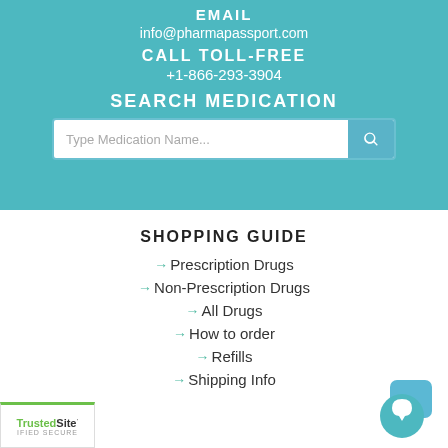EMAIL
info@pharmapassport.com
CALL TOLL-FREE
+1-866-293-3904
SEARCH MEDICATION
[Figure (screenshot): Search bar with placeholder text 'Type Medication Name...' and a blue search button with magnifying glass icon]
SHOPPING GUIDE
→ Prescription Drugs
→ Non-Prescription Drugs
→ All Drugs
→ How to order
→ Refills
→ Shipping Info
[Figure (logo): TrustedSite CERTIFIED SECURE badge, bottom left corner]
[Figure (illustration): Blue chat widget icon, bottom right corner]